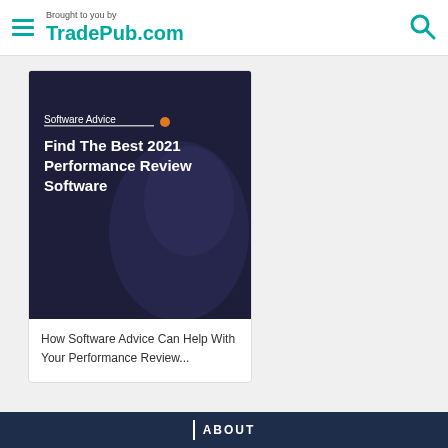Brought to you by TradePub.com
[Figure (screenshot): Book cover for 'Find The Best 2021 Performance Review Software' by Software Advice, dark navy background with silhouette graphic]
How Software Advice Can Help With Your Performance Review...
ABOUT